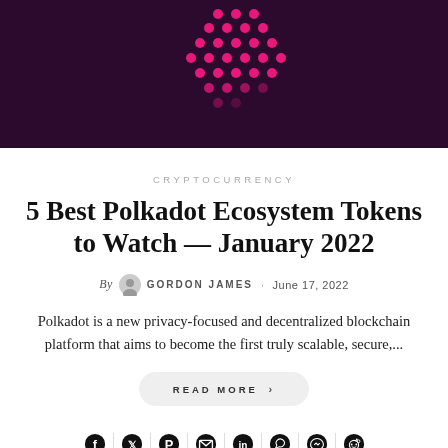[Figure (illustration): Dark purple/maroon hero image with pink/magenta dot pattern forming a Polkadot-style decorative shape in the upper center area.]
CRYPTOCURRENCY
5 Best Polkadot Ecosystem Tokens to Watch — January 2022
By GORDON JAMES · June 17, 2022
Polkadot is a new privacy-focused and decentralized blockchain platform that aims to become the first truly scalable, secure,...
READ MORE >
[Figure (infographic): Social sharing icons row: Facebook, Twitter, Pinterest, Email, LinkedIn, WhatsApp, Messenger, Reddit]